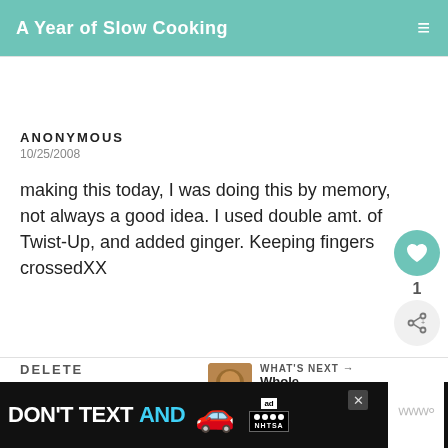A Year of Slow Cooking
ANONYMOUS
10/25/2008

making this today, I was doing this by memory, not always a good idea. I used double amt. of Twist-Up, and added ginger. Keeping fingers crossedXX
DELETE
WHAT'S NEXT → Whole Chicken in t...
[Figure (infographic): Advertisement banner: DON'T TEXT AND [car emoji] with NHTSA logo and ad badge]